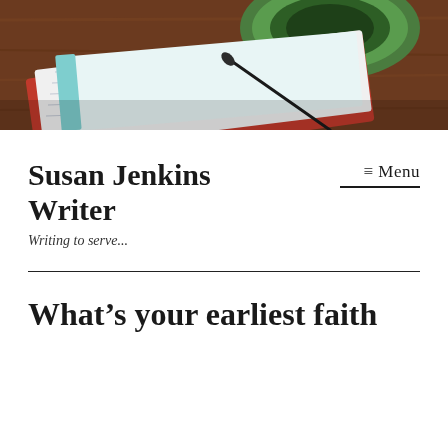[Figure (photo): A photo showing a lined notebook with a red cover and a pen resting on it, alongside a green ceramic bowl/mug, all on a wooden surface.]
Susan Jenkins Writer
≡ Menu
Writing to serve...
What's your earliest faith memory?